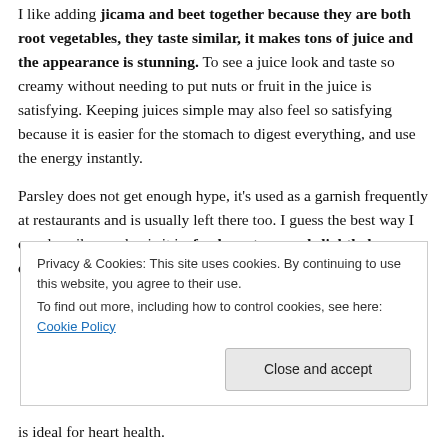I like adding jicama and beet together because they are both root vegetables, they taste similar, it makes tons of juice and the appearance is stunning. To see a juice look and taste so creamy without needing to put nuts or fruit in the juice is satisfying. Keeping juices simple may also feel so satisfying because it is easier for the stomach to digest everything, and use the energy instantly.
Parsley does not get enough hype, it's used as a garnish frequently at restaurants and is usually left there too. I guess the best way I can describe parsley is it is; fresh, watery, and slightly has a celery taste to it. Parsley is
Privacy & Cookies: This site uses cookies. By continuing to use this website, you agree to their use.
To find out more, including how to control cookies, see here: Cookie Policy
Close and accept
is ideal for heart health.